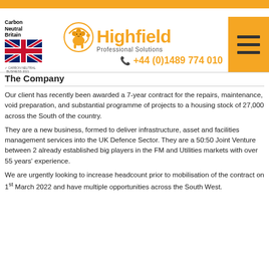Carbon Neutral Britain | Highfield Professional Solutions | +44 (0)1489 774 010
The Company
Our client has recently been awarded a 7-year contract for the repairs, maintenance, void preparation, and substantial programme of projects to a housing stock of 27,000 across the South of the country.
They are a new business, formed to deliver infrastructure, asset and facilities management services into the UK Defence Sector. They are a 50:50 Joint Venture between 2 already established big players in the FM and Utilities markets with over 55 years' experience.
We are urgently looking to increase headcount prior to mobilisation of the contract on 1st March 2022 and have multiple opportunities across the South West.